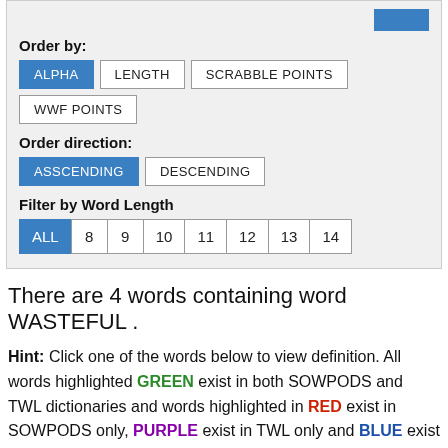Order by:
ALPHA | LENGTH | SCRABBLE POINTS | WWF POINTS
Order direction:
ASSCENDING | DESCENDING
Filter by Word Length
ALL | 8 | 9 | 10 | 11 | 12 | 13 | 14
There are 4 words containing word WASTEFUL .
Hint: Click one of the words below to view definition. All words highlighted GREEN exist in both SOWPODS and TWL dictionaries and words highlighted in RED exist in SOWPODS only, PURPLE exist in TWL only and BLUE exist in WWF only.